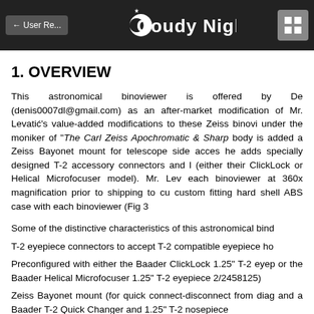← User Re... | Cloudy Nights | [grid icon]
1. OVERVIEW
This astronomical binoviewer is offered by De (denis0007dl@gmail.com) as an after-market modification of Mr. Levatić's value-added modifications to these Zeiss binovi under the moniker of "The Carl Zeiss Apochromatic & Sharp body is added a Zeiss Bayonet mount for telescope side acces he adds specially designed T-2 accessory connectors and l (either their ClickLock or Helical Microfocuser model). Mr. Lev each binoviewer at 360x magnification prior to shipping to cu custom fitting hard shell ABS case with each binoviewer (Fig 3
Some of the distinctive characteristics of this astronomical bind
T-2 eyepiece connectors to accept T-2 compatible eyepiece ho
Preconfigured with either the Baader ClickLock 1.25" T-2 eyep or the Baader Helical Microfocuser 1.25" T-2 eyepiece 2/2458125)
Zeiss Bayonet mount (for quick connect-disconnect from diag and a Baader T-2 Quick Changer and 1.25" T-2 nosepiece
Easy adaptability with the wide variety of aftermarket T-2 optic